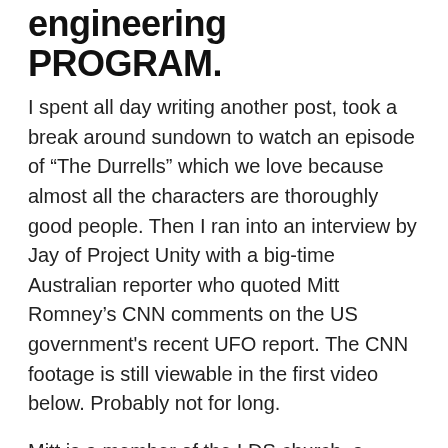engineering PROGRAM.
I spent all day writing another post, took a break around sundown to watch an episode of “The Durrells” which we love because almost all the characters are thoroughly good people. Then I ran into an interview by Jay of Project Unity with a big-time Australian reporter who quoted Mitt Romney’s CNN comments on the US government's recent UFO report. The CNN footage is still viewable in the first video below. Probably not for long.
Mitt is a member of the LDS church, a denomination I would join in a heartbeat if only I could believe their version of history. I would join them because they’re some of the most loving people I’ve ever met. (“By their fruits ye shall know them.” – The Nazarene.) I even like their boldly nonconformist Christian worldview doctrines. But alas, I’m incapable of believing the official story of how the LDS